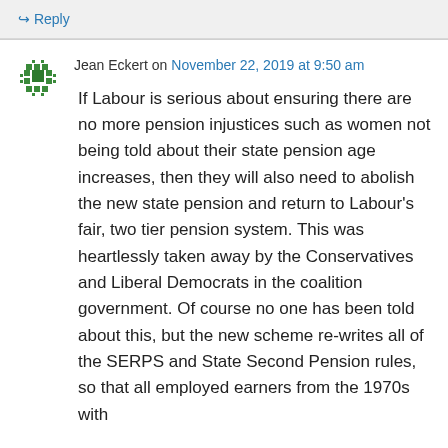↳ Reply
Jean Eckert on November 22, 2019 at 9:50 am
If Labour is serious about ensuring there are no more pension injustices such as women not being told about their state pension age increases, then they will also need to abolish the new state pension and return to Labour's fair, two tier pension system. This was heartlessly taken away by the Conservatives and Liberal Democrats in the coalition government. Of course no one has been told about this, but the new scheme re-writes all of the SERPS and State Second Pension rules, so that all employed earners from the 1970s with